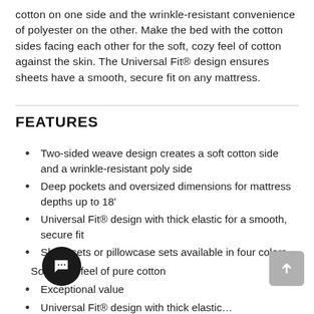cotton on one side and the wrinkle-resistant convenience of polyester on the other. Make the bed with the cotton sides facing each other for the soft, cozy feel of cotton against the skin. The Universal Fit® design ensures sheets have a smooth, secure fit on any mattress.
FEATURES
Two-sided weave design creates a soft cotton side and a wrinkle-resistant poly side
Deep pockets and oversized dimensions for mattress depths up to 18"
Universal Fit® design with thick elastic for a smooth, secure fit
Sheet sets or pillowcase sets available in four colors
Soft, cozy feel of pure cotton
Exceptional value
Universal Fit® design with thick elastic…